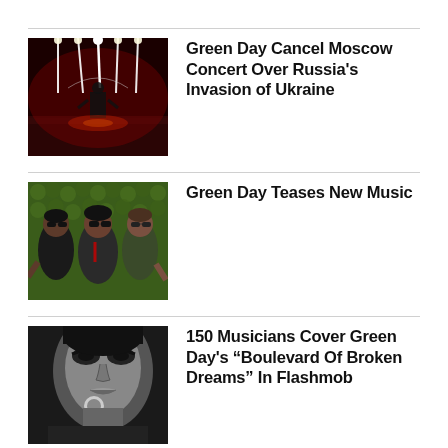[Figure (photo): Concert stage photo with bright lights, red lighting, musician silhouette on stage]
Green Day Cancel Moscow Concert Over Russia's Invasion of Ukraine
[Figure (photo): Three members of Green Day posing in front of a green hedge wall, wearing sunglasses]
Green Day Teases New Music
[Figure (photo): Close-up black and white photo of a singer holding a microphone]
150 Musicians Cover Green Day's “Boulevard Of Broken Dreams” In Flashmob